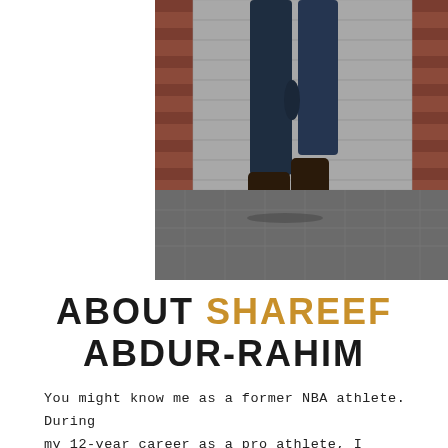[Figure (photo): A person's lower body wearing dark trousers and dark leather shoes, standing in front of a metal garage/shutter door with brick walls on either side and a cobblestone/brick pavement below.]
ABOUT SHAREEF ABDUR-RAHIM
You might know me as a former NBA athlete. During my 12-year career as a pro athlete, I played for the Vancouver Grizzlies, Atlanta Hawks, Portland Trail